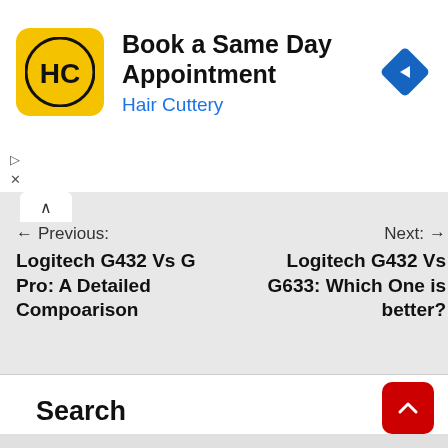[Figure (screenshot): Advertisement banner for Hair Cuttery with logo, title 'Book a Same Day Appointment', subtitle 'Hair Cuttery', and a blue navigation diamond icon. Small ad controls (play and close) at bottom left.]
← Previous:
Logitech G432 Vs G Pro: A Detailed Compoarison
Next: →
Logitech G432 Vs G633: Which One is better?
Search
Search ...
Search